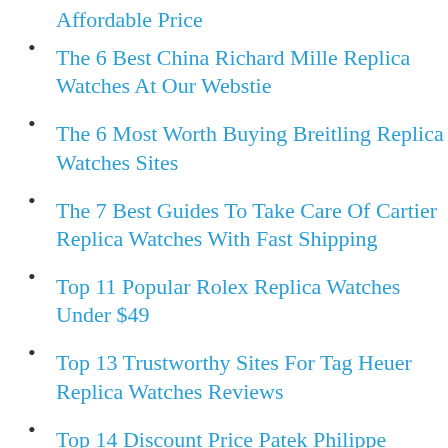Affordable Price
The 6 Best China Richard Mille Replica Watches At Our Webstie
The 6 Most Worth Buying Breitling Replica Watches Sites
The 7 Best Guides To Take Care Of Cartier Replica Watches With Fast Shipping
Top 11 Popular Rolex Replica Watches Under $49
Top 13 Trustworthy Sites For Tag Heuer Replica Watches Reviews
Top 14 Discount Price Patek Philippe Replica Watches Under $70
Top 5 Guides To Collect Iwc Replica Watches 24 Hours Online
Top 7 Reason You Should Get Replica